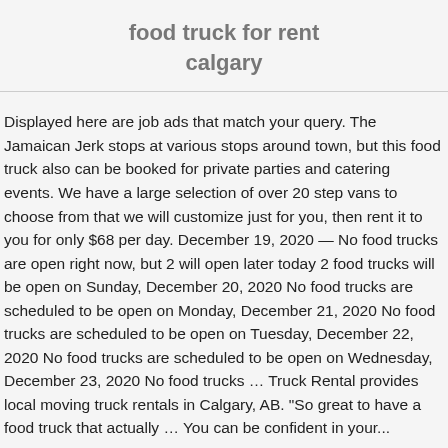food truck for rent calgary
Displayed here are job ads that match your query. The Jamaican Jerk stops at various stops around town, but this food truck also can be booked for private parties and catering events. We have a large selection of over 20 step vans to choose from that we will customize just for you, then rent it to you for only $68 per day. December 19, 2020 — No food trucks are open right now, but 2 will open later today 2 food trucks will be open on Sunday, December 20, 2020 No food trucks are scheduled to be open on Monday, December 21, 2020 No food trucks are scheduled to be open on Tuesday, December 22, 2020 No food trucks are scheduled to be open on Wednesday, December 23, 2020 No food trucks … Truck Rental provides local moving truck rentals in Calgary, AB. "So great to have a food truck that actually … You can be confident in your...